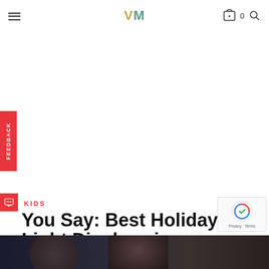VM
KIDS
You Say: Best Holiday Light Displays in Vancouver
BY AMBER STROCEL
DECEMBER 22, 2011
[Figure (photo): Author avatar photo of Amber Strocel]
[Figure (photo): Bottom strip photo, dark background]